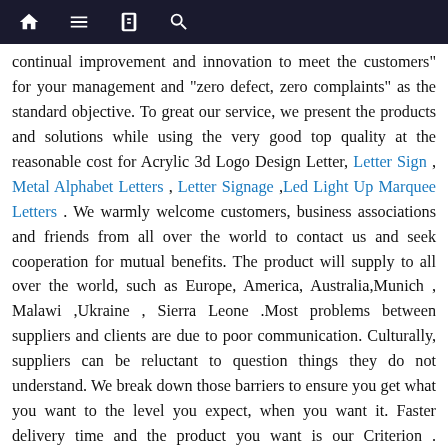[navigation icons: home, menu, book, search]
continual improvement and innovation to meet the customers" for your management and "zero defect, zero complaints" as the standard objective. To great our service, we present the products and solutions while using the very good top quality at the reasonable cost for Acrylic 3d Logo Design Letter, Letter Sign , Metal Alphabet Letters , Letter Signage ,Led Light Up Marquee Letters . We warmly welcome customers, business associations and friends from all over the world to contact us and seek cooperation for mutual benefits. The product will supply to all over the world, such as Europe, America, Australia,Munich , Malawi ,Ukraine , Sierra Leone .Most problems between suppliers and clients are due to poor communication. Culturally, suppliers can be reluctant to question things they do not understand. We break down those barriers to ensure you get what you want to the level you expect, when you want it. Faster delivery time and the product you want is our Criterion .
Related Products